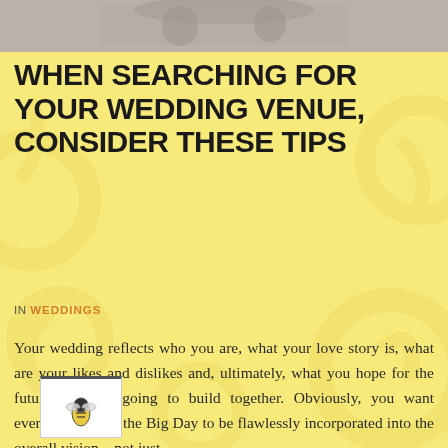[Figure (photo): Grayscale wedding photo strip at top of page]
WHEN SEARCHING FOR YOUR WEDDING VENUE, CONSIDER THESE TIPS
IN WEDDINGS
Your wedding reflects who you are, what your love story is, what are your likes and dislikes and, ultimately, what you hope for the future you are going to build together. Obviously, you want everything about the Big Day to be flawlessly incorporated into the overall vision – not just...
[Figure (logo): Small bee logo in white box with border at bottom left]